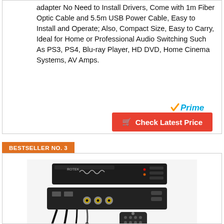adapter No Need to Install Drivers, Come with 1m Fiber Optic Cable and 5.5m USB Power Cable, Easy to Install and Operate; Also, Compact Size, Easy to Carry, Ideal for Home or Professional Audio Switching Such As PS3, PS4, Blu-ray Player, HD DVD, Home Cinema Systems, AV Amps.
[Figure (logo): Amazon Prime logo with orange checkmark and blue Prime text]
Check Latest Price
BESTSELLER NO. 3
[Figure (photo): Black Rotek digital-to-analog audio converter device with RCA connectors, cables, and remote control]